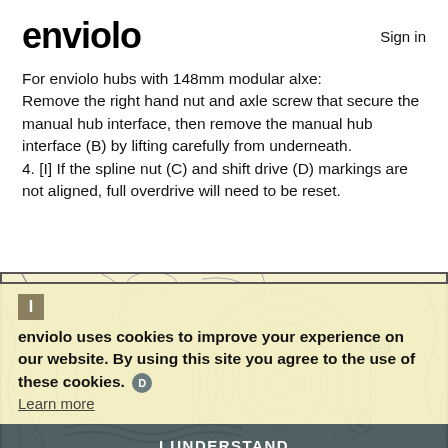enviolo   Sign in
For enviolo hubs with 148mm modular alxe: Remove the right hand nut and axle screw that secure the manual hub interface, then remove the manual hub interface (B) by lifting carefully from underneath.
4. [I] If the spline nut (C) and shift drive (D) markings are not aligned, full overdrive will need to be reset.
[Figure (illustration): Technical illustration of enviolo hub internals showing spline nut (C) and shift drive (D) components with circular gear mechanism detail. Drawn in outline style on light background.]
I
enviolo uses cookies to improve your experience on our website. By using this site you agree to the use of these cookies.
Learn more
I UNDERSTAND